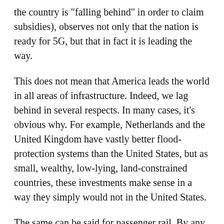the country is "falling behind" in order to claim subsidies), observes not only that the nation is ready for 5G, but that in fact it is leading the way.
This does not mean that America leads the world in all areas of infrastructure. Indeed, we lag behind in several respects. In many cases, it's obvious why. For example, Netherlands and the United Kingdom have vastly better flood-protection systems than the United States, but as small, wealthy, low-lying, land-constrained countries, these investments make sense in a way they simply would not in the United States.
The same can be said for passenger rail. By any reasonable standard, America's intercity railroad system is slower, less frequently used, and less efficient than those in most of the European Union, China, and wealthy Asian countries. Yet this is largely because passenger rail is just not practical in large parts